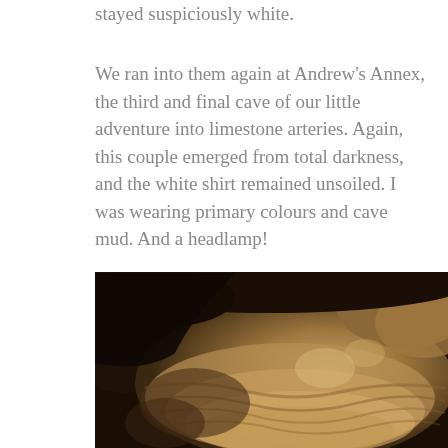stayed suspiciously white.
We ran into them again at Andrew's Annex, the third and final cave of our little adventure into limestone arteries. Again, this couple emerged from total darkness, and the white shirt remained unsoiled. I was wearing primary colours and cave mud. And a headlamp!
[Figure (photo): Close-up photograph of cave formations — layered, rippled limestone rock formations (cave flowstone or cave popcorn) in warm brown and tan tones, taken inside a cave with low lighting.]